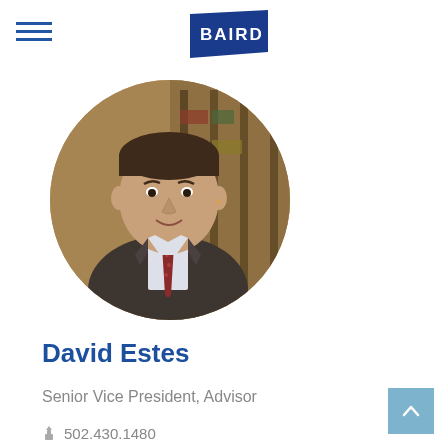[Figure (logo): Baird financial services logo — navy blue flag-shaped rectangle with white BAIRD text]
[Figure (photo): Circular headshot photo of David Estes, a middle-aged man in a dark grey suit with a red patterned tie, smiling, set against a warm interior background]
David Estes
Senior Vice President, Advisor
502.430.1480